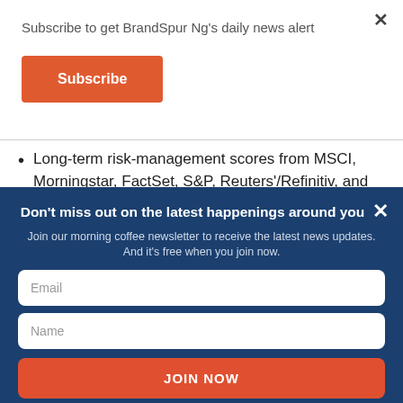Subscribe to get BrandSpur Ng's daily news alert
Subscribe
Long-term risk-management scores from MSCI, Morningstar, FactSet, S&P, Reuters'/Refinitiv, and Just
Don't miss out on the latest happenings around you
Join our morning coffee newsletter to receive the latest news updates. And it's free when you join now.
Email
Name
JOIN NOW